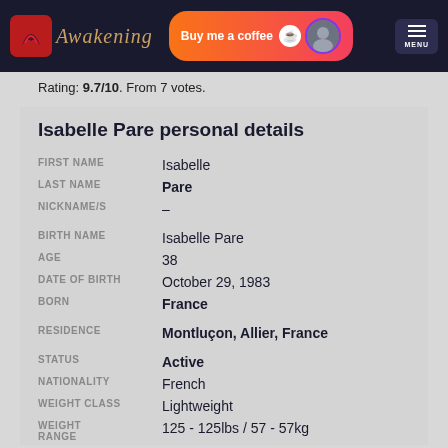Awakening | Buy me a coffee | MENU
Rating: 9.7/10. From 7 votes.
Isabelle Pare personal details
| Field | Value |
| --- | --- |
| FIRST NAME | Isabelle |
| LAST NAME | Pare |
| NICKNAME/S | - |
| BIRTH NAME | Isabelle Pare |
| AGE | 38 |
| DATE OF BIRTH | October 29, 1983 |
| BORN | France |
| RESIDENCE | Montluçon, Allier, France |
| STATUS | Active |
| NATIONALITY | French |
| WEIGHT CLASS | Lightweight |
| WEIGHT RANGE | 125 - 125lbs / 57 - 57kg |